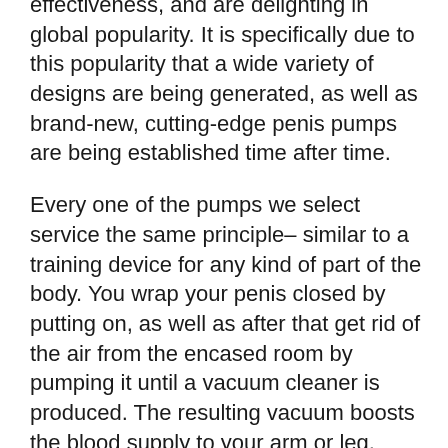effectiveness, and are delighting in global popularity. It is specifically due to this popularity that a wide variety of designs are being generated, as well as brand-new, cutting-edge penis pumps are being established time after time.
Every one of the pumps we select service the same principle– similar to a training device for any kind of part of the body. You wrap your penis closed by putting on, as well as after that get rid of the air from the encased room by pumping it until a vacuum cleaner is produced. The resulting vacuum boosts the blood supply to your arm or leg, which in turn results in a lot more size, more length and more level of sensitivity.